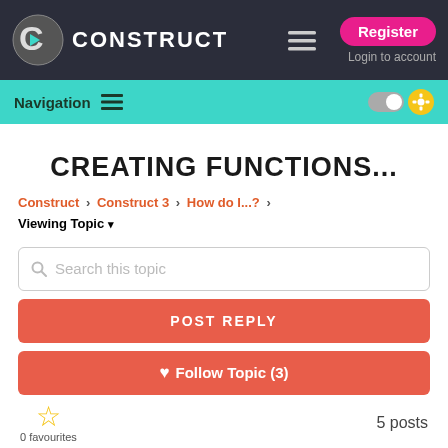CONSTRUCT — Register | Login to account
Navigation
CREATING FUNCTIONS...
Construct > Construct 3 > How do I...? > Viewing Topic
Search this topic
POST REPLY
♥ Follow Topic (3)
0 favourites
5 posts
Bootfit